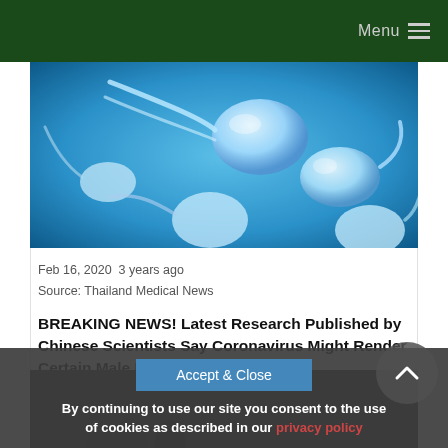Menu
[Figure (illustration): Microscopic 3D illustration of sperm cells on blue background]
Feb 16, 2020  3 years ago
Source: Thailand Medical News
BREAKING NEWS! Latest Research Published by Chinese Scientists Say Coronavirus Might Render Certain Male Patients Infertile
[Figure (photo): Partially visible photo below dashed line, obscured by cookie consent overlay]
Accept & Close
By continuing to use our site you consent to the use of cookies as described in our privacy policy